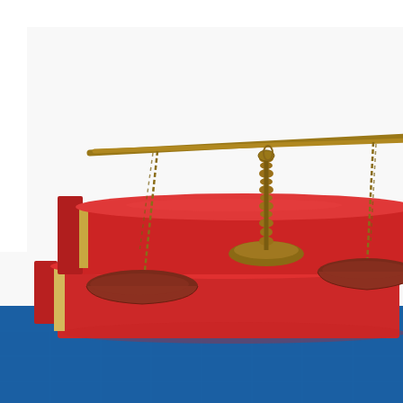[Figure (photo): Photograph of a brass balance scale of justice resting on top of two stacked red law books, against a white background. The scales hang from chains on a decorative brass beam, with dark red/brown pans on each side. The books have gold-edged pages.]